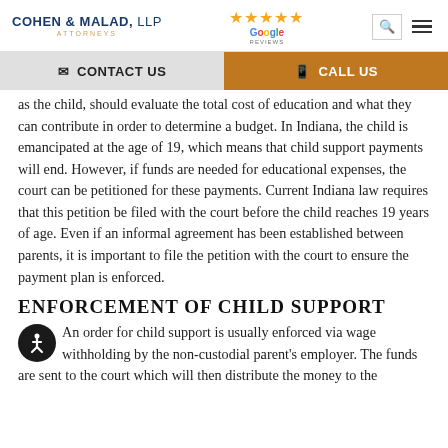COHEN & MALAD, LLP ATTORNEYS | Google Reviews (5 stars) | Search | Menu
CONTACT US | CALL US
as the child, should evaluate the total cost of education and what they can contribute in order to determine a budget. In Indiana, the child is emancipated at the age of 19, which means that child support payments will end. However, if funds are needed for educational expenses, the court can be petitioned for these payments. Current Indiana law requires that this petition be filed with the court before the child reaches 19 years of age. Even if an informal agreement has been established between parents, it is important to file the petition with the court to ensure the payment plan is enforced.
ENFORCEMENT OF CHILD SUPPORT
An order for child support is usually enforced via wage withholding by the non-custodial parent's employer. The funds are sent to the court which will then distribute the money to the